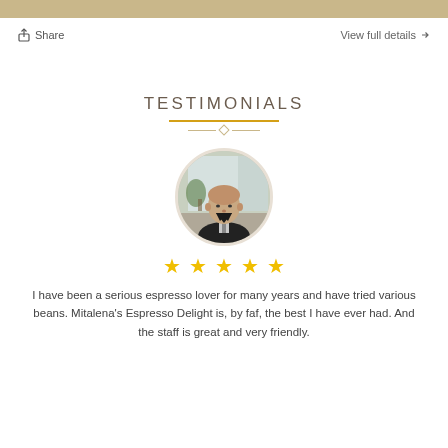Share
View full details →
TESTIMONIALS
[Figure (photo): Circular profile photo of a man in a black suit standing in an office environment]
★ ★ ★ ★ ★
I have been a serious espresso lover for many years and have tried various beans. Mitalena's Espresso Delight is, by faf, the best I have ever had. And the staff is great and very friendly.